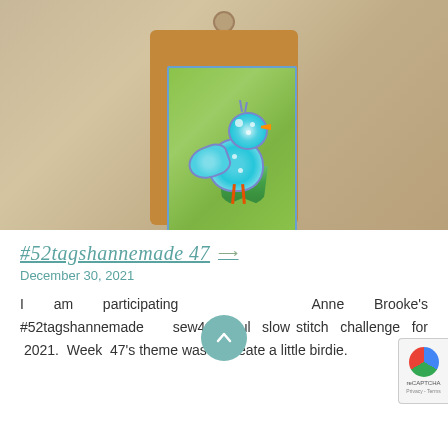[Figure (photo): A handmade fabric tag with a decorative bird appliqué. The tag has a brown cardboard base with a hole at top, overlaid with green textured fabric bordered in blue. A teal/turquoise bird with polka dots, purple accents, green tail feathers, and orange legs and beak stands on the fabric. A wing extends to the left. The tag is placed on a light wood surface.]
#52tagshannemade 47
December 30, 2021
I am participating in Anne Brooke's #52tagshannemade sew4thesoul slow stitch challenge for 2021. Week 47's theme was to create a little birdie.